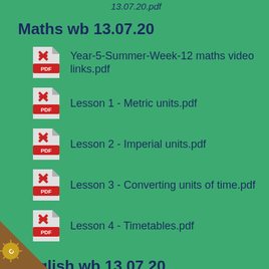13.07.20.pdf
Maths wb 13.07.20
Year-5-Summer-Week-12 maths video links.pdf
Lesson 1 - Metric units.pdf
Lesson 2 - Imperial units.pdf
Lesson 3 - Converting units of time.pdf
Lesson 4 - Timetables.pdf
English wb 13.07.20
Reading comprehension Year 5.pdf